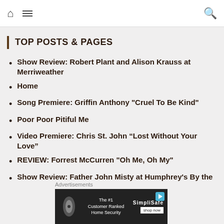Home | Menu | Search
TOP POSTS & PAGES
Show Review: Robert Plant and Alison Krauss at Merriweather
Home
Song Premiere: Griffin Anthony "Cruel To Be Kind"
Poor Poor Pitiful Me
Video Premiere: Chris St. John “Lost Without Your Love”
REVIEW: Forrest McCurren "Oh Me, Oh My"
Show Review: Father John Misty at Humphrey's By the Bay
Timothy B. Schmit Talks About Life, The Eagles and His New Album Day By Day
Advertisements
[Figure (screenshot): Advertisement banner for SimpliSafe home security - The #1 Customer Ranked Home Security with shop now button]